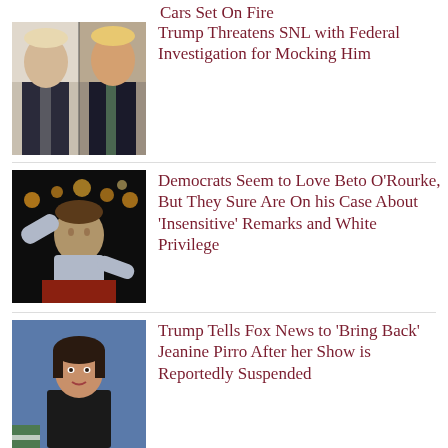Cars Set On Fire
[Figure (photo): Side-by-side photo of Alec Baldwin as Trump on SNL (left) and Donald Trump (right)]
Trump Threatens SNL with Federal Investigation for Mocking Him
[Figure (photo): Beto O'Rourke speaking at an event, arms raised, in front of lights]
Democrats Seem to Love Beto O’Rourke, But They Sure Are On his Case About ‘Insensitive’ Remarks and White Privilege
[Figure (photo): Jeanine Pirro speaking at a podium with a microphone]
Trump Tells Fox News to ‘Bring Back’ Jeanine Pirro After her Show is Reportedly Suspended